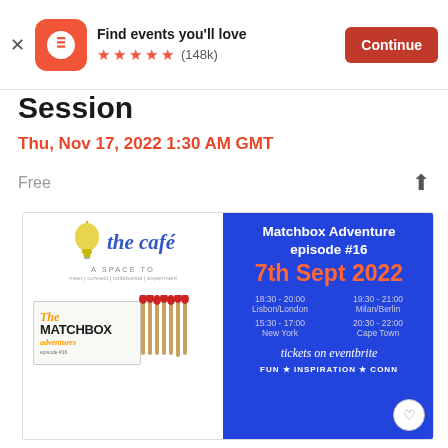Find events you'll love ★★★★★ (148k) Continue
Session
Thu, Nov 17, 2022 1:30 AM GMT
Free
[Figure (infographic): Event promotional banner split into two panels: left panel shows 'the café - a space to meet | connect | collaborate | experiment' with a lightbulb image and The Matchbox Adventures episode #16 matchbox graphic. Right panel is blue background showing 'Matchbox Adventure episode #16, 7th Sept 2022' with time slots for Lisbon/London 18:30-20:00, Milan/Berlin 19:30-21:00, New York 15:30-17:00, Cape Town 20:30-22:00, and 'tickets on eventbrite' text.]